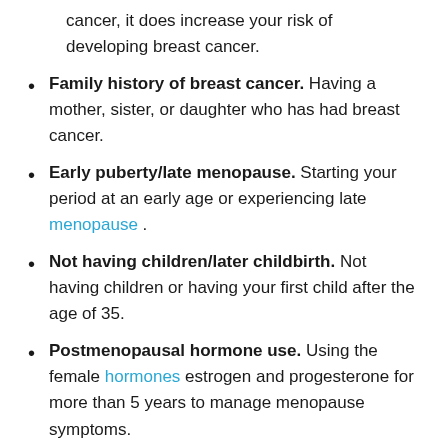cancer, it does increase your risk of developing breast cancer.
Family history of breast cancer. Having a mother, sister, or daughter who has had breast cancer.
Early puberty/late menopause. Starting your period at an early age or experiencing late menopause.
Not having children/later childbirth. Not having children or having your first child after the age of 35.
Postmenopausal hormone use. Using the female hormones estrogen and progesterone for more than 5 years to manage menopause symptoms.
Exposure to radiation. Receiving radiation to the breast or chest to treat cancer before the age of 30.
Having genetic mutations for certain types of breast cancer. Being a carrier of the familial breast cancer genes